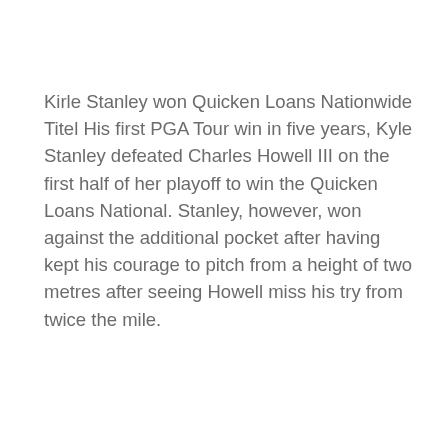Kirle Stanley won Quicken Loans Nationwide Titel His first PGA Tour win in five years, Kyle Stanley defeated Charles Howell III on the first half of her playoff to win the Quicken Loans National. Stanley, however, won against the additional pocket after having kept his courage to pitch from a height of two metres after seeing Howell miss his try from twice the mile.